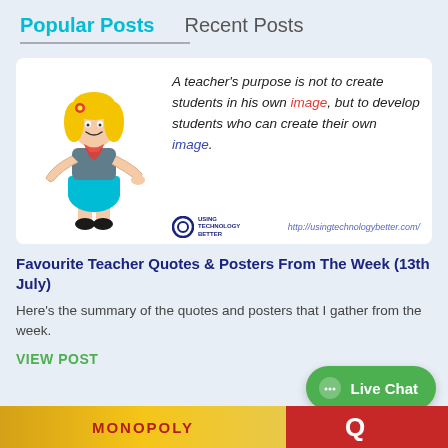Popular Posts   Recent Posts
[Figure (illustration): Blog post card with a cartoon teacher illustration on the left and a quote on the right. The quote reads: A teacher's purpose is not to create students in his own image, but to develop students who can create their own image. URL shown: http://usingtechnologybetter.com/]
Favourite Teacher Quotes & Posters From The Week (13th July)
Here’s the summary of the quotes and posters that I gather from the week.
VIEW POST
[Figure (screenshot): Live Chat button (green rounded pill button with chat icon)]
[Figure (photo): Partial image at bottom showing colorful board game pieces / Monopoly-style cards]